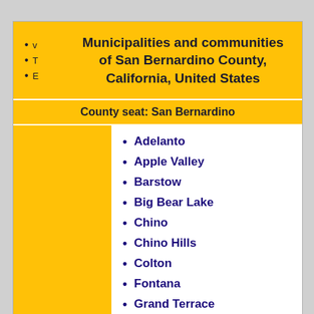Municipalities and communities of San Bernardino County, California, United States
County seat: San Bernardino
Adelanto
Apple Valley
Barstow
Big Bear Lake
Chino
Chino Hills
Colton
Fontana
Grand Terrace
Hesperia
Highland